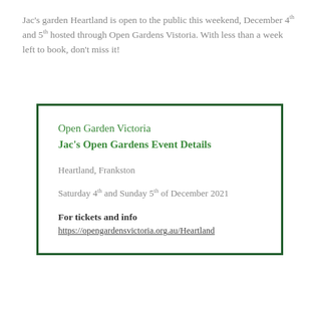Jac's garden Heartland is open to the public this weekend, December 4th and 5th hosted through Open Gardens Vistoria. With less than a week left to book, don't miss it!
Open Garden Victoria
Jac's Open Gardens Event Details

Heartland, Frankston

Saturday 4th and Sunday 5th of December 2021

For tickets and info
https://opengardensvictoria.org.au/Heartland